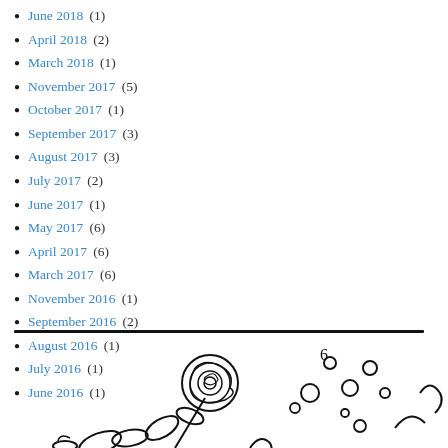June 2018 (1)
April 2018 (2)
March 2018 (1)
November 2017 (5)
October 2017 (1)
September 2017 (3)
August 2017 (3)
July 2017 (2)
June 2017 (1)
May 2017 (6)
April 2017 (6)
March 2017 (6)
November 2016 (1)
September 2016 (2)
August 2016 (1)
July 2016 (1)
June 2016 (1)
[Figure (illustration): Black and white hand-drawn illustration showing a rose with leaves and decorative circles/bubbles and abstract figures along the bottom of the page]